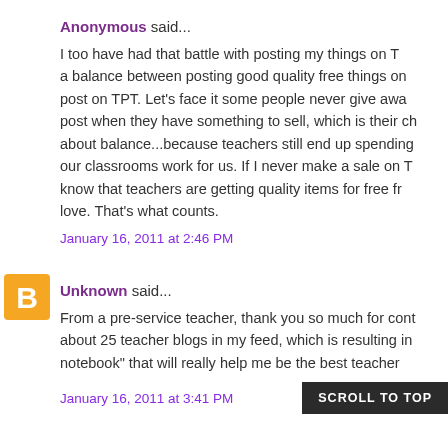Anonymous said...
I too have had that battle with posting my things on T... a balance between posting good quality free things on... post on TPT. Let's face it some people never give awa... post when they have something to sell, which is their ch... about balance...because teachers still end up spending... our classrooms work for us. If I never make a sale on T... know that teachers are getting quality items for free fr... love. That's what counts.
January 16, 2011 at 2:46 PM
Unknown said...
From a pre-service teacher, thank you so much for cont... about 25 teacher blogs in my feed, which is resulting in... notebook" that will really help me be the best teacher...
January 16, 2011 at 3:41 PM